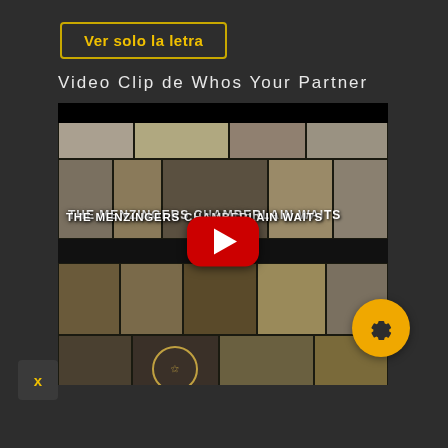Ver solo la letra
Video Clip de Whos Your Partner
[Figure (screenshot): YouTube video thumbnail for The Menzingers - Chamberlain Waits, showing a collage of black and white photographs with the YouTube play button overlay. Text reads 'THE MENZINGERS CHAMBERLAIN WAITS'. A yellow settings gear button is on the right side.]
x